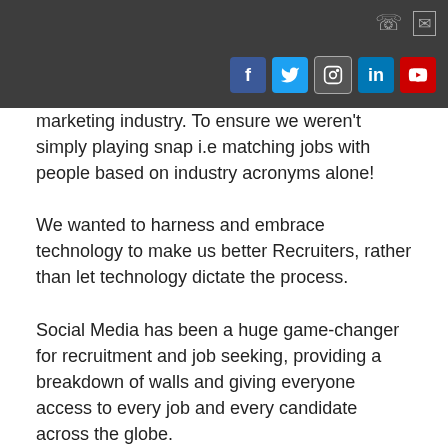[Figure (other): Dark grey header bar with phone and mail icons top-right, and social media icons (Facebook, Twitter, Instagram, LinkedIn, YouTube) on lower right]
marketing industry. To ensure we weren't simply playing snap i.e matching jobs with people based on industry acronyms alone!
We wanted to harness and embrace technology to make us better Recruiters, rather than let technology dictate the process.
Social Media has been a huge game-changer for recruitment and job seeking, providing a breakdown of walls and giving everyone access to every job and every candidate across the globe.
Whether you are looking for a new role or to employ new talent, social media has become the place to gain the first